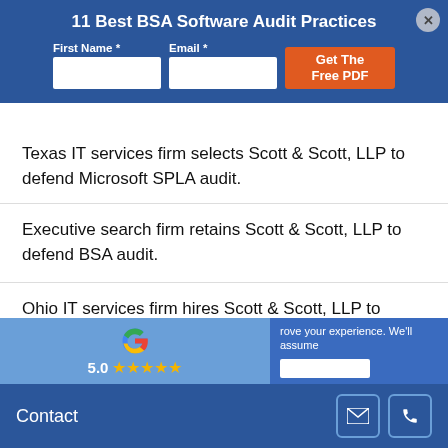11 Best BSA Software Audit Practices
First Name *
Email *
Get The Free PDF
Texas IT services firm selects Scott & Scott, LLP to defend Microsoft SPLA audit.
Executive search firm retains Scott & Scott, LLP to defend BSA audit.
Ohio IT services firm hires Scott & Scott, LLP to defend Microsoft SPLA audit.
[Figure (logo): Google logo with star rating widget showing 5.0 and four gold stars]
rove your experience. We'll assume
Contact